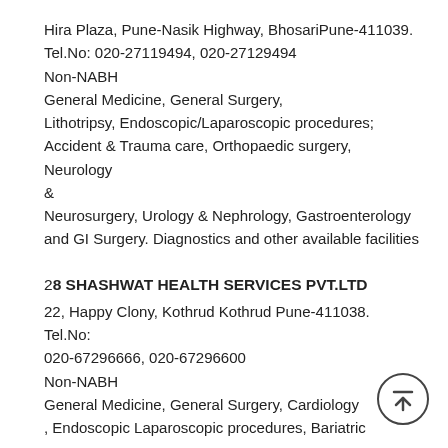Hira Plaza, Pune-Nasik Highway, BhosariPune-411039. Tel.No: 020-27119494, 020-27129494
Non-NABH
General Medicine, General Surgery, Lithotripsy, Endoscopic/Laparoscopic procedures; Accident & Trauma care, Orthopaedic surgery, Neurology & Neurosurgery, Urology & Nephrology, Gastroenterology and GI Surgery. Diagnostics and other available facilities
28 SHASHWAT HEALTH SERVICES PVT.LTD
22, Happy Clony, Kothrud Kothrud Pune-411038. Tel.No: 020-67296666, 020-67296600
Non-NABH
General Medicine, General Surgery, Cardiology , Endoscopic Laparoscopic procedures, Bariatric surgery, Gynecology & Obstetrics including IVF,